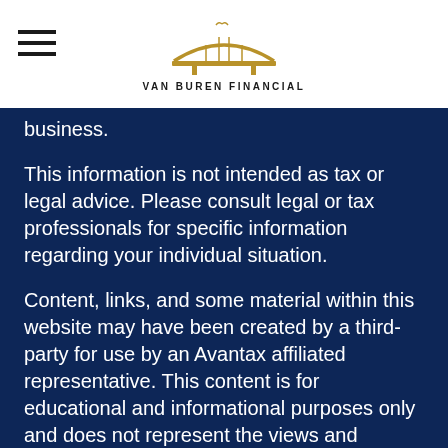VAN BUREN FINANCIAL
business.
This information is not intended as tax or legal advice. Please consult legal or tax professionals for specific information regarding your individual situation.
Content, links, and some material within this website may have been created by a third-party for use by an Avantax affiliated representative. This content is for educational and informational purposes only and does not represent the views and opinions of Avantax Wealth ManagementSM or its subsidiaries. Avantax Wealth ManagementSM is not responsible for and does not control, adopt, or